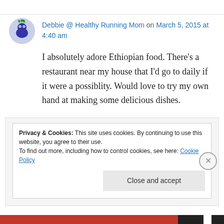Debbie @ Healthy Running Mom on March 5, 2015 at 4:40 am
I absolutely adore Ethiopian food. There's a restaurant near my house that I'd go to daily if it were a possiblity. Would love to try my own hand at making some delicious dishes.
↳ Reply
Privacy & Cookies: This site uses cookies. By continuing to use this website, you agree to their use.
To find out more, including how to control cookies, see here: Cookie Policy
Close and accept